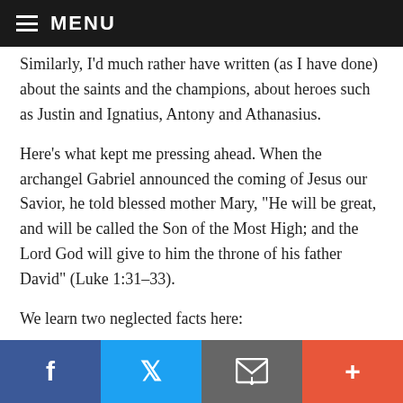MENU
Similarly, I'd much rather have written (as I have done) about the saints and the champions, about heroes such as Justin and Ignatius, Antony and Athanasius.
Here’s what kept me pressing ahead. When the archangel Gabriel announced the coming of Jesus our Savior, he told blessed mother Mary, “He will be great, and will be called the Son of the Most High; and the Lord God will give to him the throne of his father David” (Luke 1:31–33).
We learn two neglected facts here:
Social share bar: Facebook, Twitter, Email, Plus